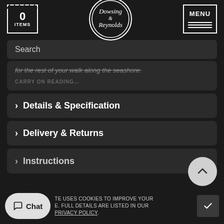[Figure (logo): Dowsing & Reynolds circular logo in white on dark background]
0 ITEMS
MENU
Search
for the rest of your walk along the seashore.
CARRY ON READING...
Details & Specification
Delivery & Returns
Instructions
TE USES COOKIES TO IMPROVE YOUR E. FULL DETAILS ARE LISTED IN OUR PRIVACY POLICY.
Chat